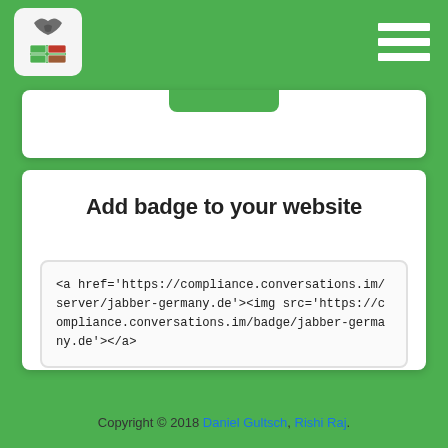[Figure (logo): Navigation bar with logo (bird/table icon in grey box) and hamburger menu on green background]
Add badge to your website
[Figure (infographic): Compliance badge: 'XMPP Specifications compliance 100% (20/20)' with dark grey label and green value]
<a href='https://compliance.conversations.im/server/jabber-germany.de'><img src='https://compliance.conversations.im/badge/jabber-germany.de'></a>
Copyright © 2018 Daniel Gultsch, Rishi Raj.